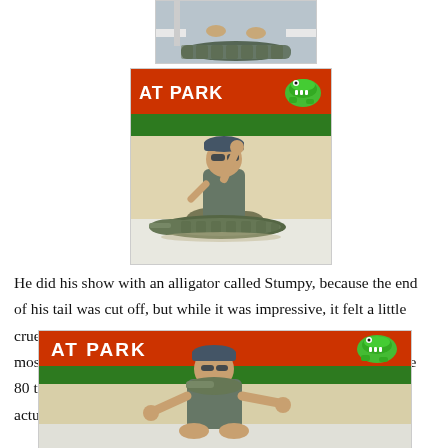[Figure (photo): Partial top photo showing an alligator and a person's feet at what appears to be an alligator park]
[Figure (photo): Photo of a man sitting on an alligator at a park with an orange banner reading 'AT PARK' and a green alligator logo]
He did his show with an alligator called Stumpy, because the end of his tail was cut off, but while it was impressive, it felt a little cruel at times. Nevertheless, it was very interesting. I think the most interesting thing that I learnt about them was that they have 80 teeth, 40 and the top and 40 on the bottom. Plus they are actually hollow!
[Figure (photo): Bottom photo partially visible showing a man performing with an alligator at the same park, with orange banner and green alligator logo]